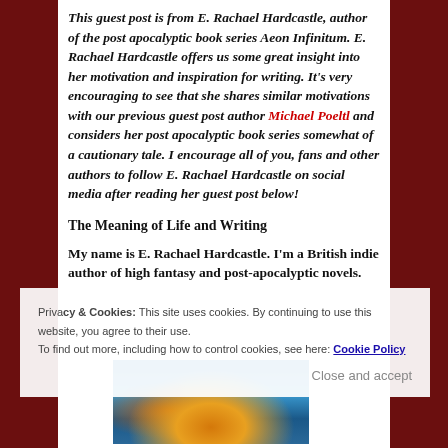This guest post is from E. Rachael Hardcastle, author of the post apocalyptic book series Aeon Infinitum. E. Rachael Hardcastle offers us some great insight into her motivation and inspiration for writing. It's very encouraging to see that she shares similar motivations with our previous guest post author Michael Poeltl and considers her post apocalyptic book series somewhat of a cautionary tale. I encourage all of you, fans and other authors to follow E. Rachael Hardcastle on social media after reading her guest post below!
The Meaning of Life and Writing
My name is E. Rachael Hardcastle. I'm a British indie author of high fantasy and post-apocalyptic novels.
[Figure (photo): A colorful nebula or cosmic artwork image with blues, oranges, and yellows.]
Privacy & Cookies: This site uses cookies. By continuing to use this website, you agree to their use. To find out more, including how to control cookies, see here: Cookie Policy